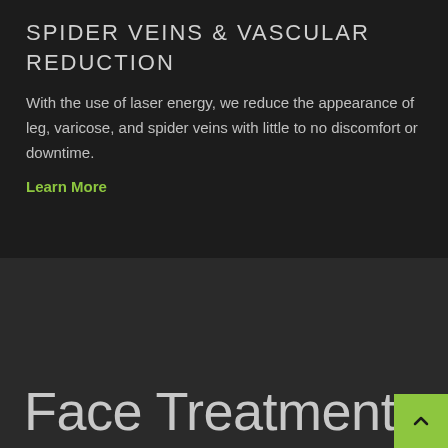SPIDER VEINS & VASCULAR REDUCTION
With the use of laser energy, we reduce the appearance of leg, varicose, and spider veins with little to no discomfort or downtime.
Learn More
Face Treatments